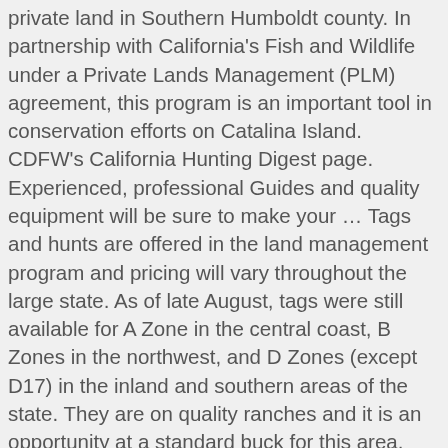private land in Southern Humboldt county. In partnership with California's Fish and Wildlife under a Private Lands Management (PLM) agreement, this program is an important tool in conservation efforts on Catalina Island. CDFW's California Hunting Digest page. Experienced, professional Guides and quality equipment will be sure to make your … Tags and hunts are offered in the land management program and pricing will vary throughout the large state. As of late August, tags were still available for A Zone in the central coast, B Zones in the northwest, and D Zones (except D17) in the inland and southern areas of the state. They are on quality ranches and it is an opportunity at a standard buck for this area. One way to beat the drawing system is to buy one of our landowner Roosevelt elk tags and then you are guaranteed to go on a hunt. Our standard California deer hunts are for those clients who want a guided deer hunt for a reasonable price. Oak woodlands and Willow tree ditches are abundant on the ranch and are full of Blacktail Deer. We target Trophy Bulls and manage the herd to keep the quality the best it can be year to year. Limited Deer Tags Available